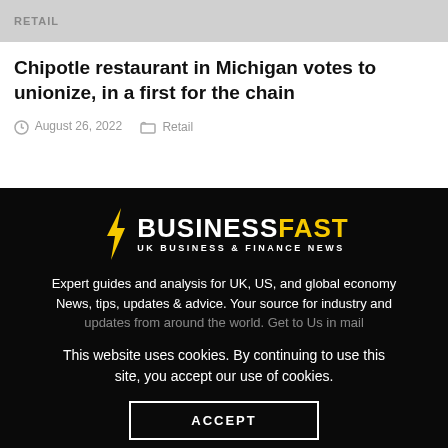RETAIL
Chipotle restaurant in Michigan votes to unionize, in a first for the chain
August 26, 2022   Retail
[Figure (logo): BusinessFast logo — lightning bolt in yellow, BUSINESS in white bold text, FAST in yellow bold text, subtitle UK BUSINESS & FINANCE NEWS in white]
Expert guides and analysis for UK, US, and global economy News, tips, updates & advice. Your source for industry and updates from around the world. Get to Us in mail
This website uses cookies. By continuing to use this site, you accept our use of cookies.
ACCEPT